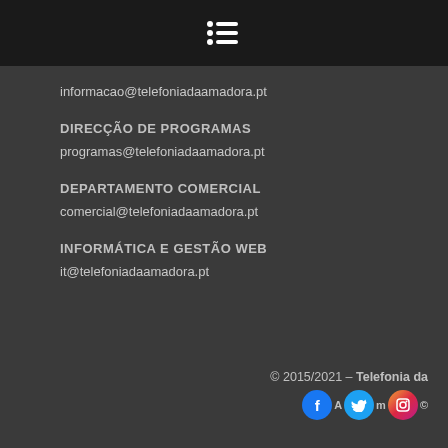☰ menu icon
informacao@telefoniadaamadora.pt
DIRECÇÃO DE PROGRAMAS
programas@telefoniadaamadora.pt
DEPARTAMENTO COMERCIAL
comercial@telefoniadaamadora.pt
INFORMÁTICA E GESTÃO WEB
it@telefoniadaamadora.pt
© 2015/2021 - Telefonia da Amadora